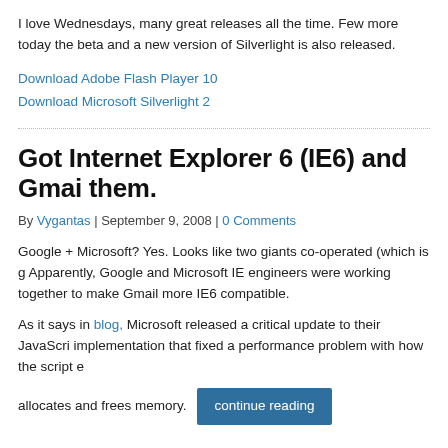I love Wednesdays, many great releases all the time. Few more today the beta and a new version of Silverlight is also released.
Download Adobe Flash Player 10
Download Microsoft Silverlight 2
Got Internet Explorer 6 (IE6) and Gmail them.
By Vygantas | September 9, 2008 | 0 Comments
Google + Microsoft? Yes. Looks like two giants co-operated (which is g Apparently, Google and Microsoft IE engineers were working together to make Gmail more IE6 compatible.
As it says in blog, Microsoft released a critical update to their JavaScri implementation that fixed a performance problem with how the script e allocates and frees memory.
continue reading